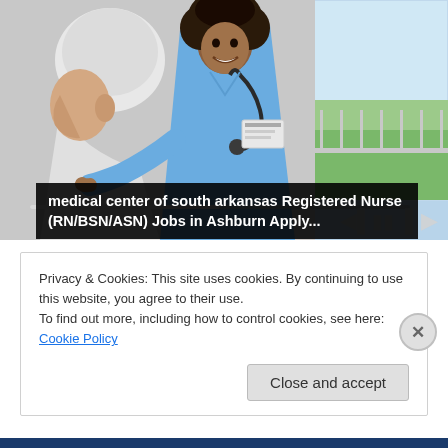[Figure (photo): A smiling nurse in blue scrubs with a stethoscope attending to an elderly male patient. Video player controls visible at bottom of image.]
medical center of south arkansas Registered Nurse (RN/BSN/ASN) Jobs in Ashburn Apply...
Privacy & Cookies: This site uses cookies. By continuing to use this website, you agree to their use.
To find out more, including how to control cookies, see here: Cookie Policy
Close and accept